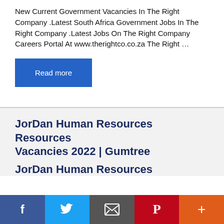New Current Government Vacancies In The Right Company .Latest South Africa Government Jobs In The Right Company .Latest Jobs On The Right Company Careers Portal At www.therightco.co.za The Right ...
Read more
JorDan Human Resources Vacancies 2022 | Gumtree JorDan Human Resources
Facebook | Twitter | Email | Pinterest | More